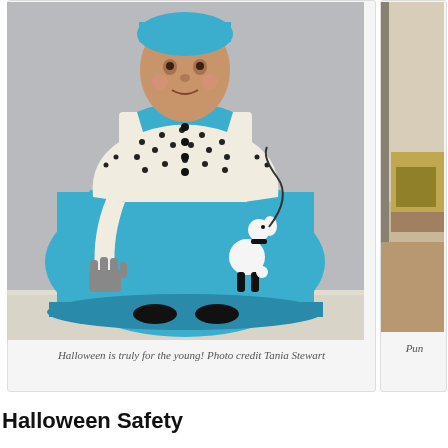[Figure (photo): A child wearing a 1950s-style Halloween costume: a blue poodle skirt with a white polka-dot top and blue collar, gray gloves, standing against a light gray wall.]
Halloween is truly for the young! Photo credit Tania Stewart
[Figure (photo): Partial view of another Halloween-themed photo on the right side, partially cropped. Interior room scene visible.]
Pun
Halloween Safety